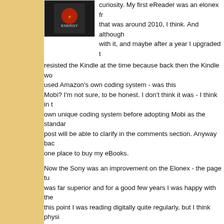[Figure (illustration): Book cover with dark background and 'ENERGY' text visible]
curiosity. My first eReader was an elonex fr that was around 2010, I think. And although with it, and maybe after a year I upgraded t resisted the Kindle at the time because back then the Kindle wo used Amazon's own coding system - was this Mobi? I'm not sure, to be honest. I don't think it was - I think in t own unique coding system before adopting Mobi as the standar post will be able to clarify in the comments section. Anyway bac one place to buy my eBooks.
Now the Sony was an improvement on the Elonex - the page tu was far superior and for a good few years I was happy with the this point I was reading digitally quite regularly, but I think physi reading stakes.
I only moved to the Kindle when Amazon launched the Paperwh I've not looked back. I read around 50 novels last year, and all t as I say it's now got to the point where a physical book feels aw easy availability of books on the Amazon Kindle Store, and how book on my device in seconds. And these days a lot of books, t available in digital editions. And of course I can get eBooks else onto my device via the USB cable and the free Calibre software
Of course Amazon's flagship eReader is now the Oasis - and I a